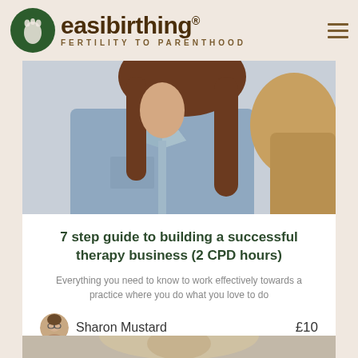easibirthing® FERTILITY TO PARENTHOOD
[Figure (photo): Two women in conversation, one wearing a denim shirt with long brown hair, another with blonde hair facing away, consultation or therapy session setting]
7 step guide to building a successful therapy business (2 CPD hours)
Everything you need to know to work effectively towards a practice where you do what you love to do
Sharon Mustard    £10
[Figure (photo): Partial view of a person at the bottom of the page, cropped]